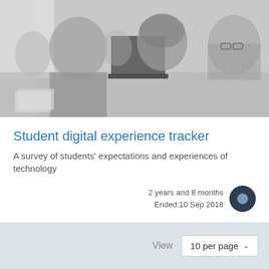[Figure (photo): Black and white photograph of students sitting at a table, smiling and working with a laptop/tablet in a classroom setting.]
Student digital experience tracker
A survey of students' expectations and experiences of technology
2 years and 8 months
Ended:10 Sep 2018
View
10 per page